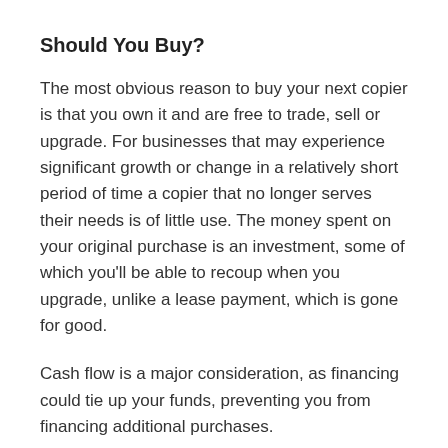Should You Buy?
The most obvious reason to buy your next copier is that you own it and are free to trade, sell or upgrade. For businesses that may experience significant growth or change in a relatively short period of time a copier that no longer serves their needs is of little use. The money spent on your original purchase is an investment, some of which you'll be able to recoup when you upgrade, unlike a lease payment, which is gone for good.
Cash flow is a major consideration, as financing could tie up your funds, preventing you from financing additional purchases.
Should You Lease?
When you lease your copier you can easily upgrade every